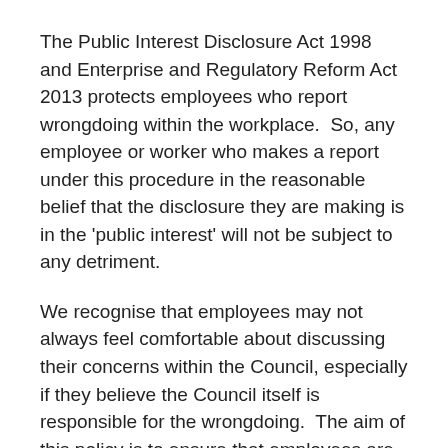The Public Interest Disclosure Act 1998 and Enterprise and Regulatory Reform Act 2013 protects employees who report wrongdoing within the workplace.  So, any employee or worker who makes a report under this procedure in the reasonable belief that the disclosure they are making is in the 'public interest' will not be subject to any detriment.
We recognise that employees may not always feel comfortable about discussing their concerns within the Council, especially if they believe the Council itself is responsible for the wrongdoing.  The aim of this policy is to ensure that employees are confident that they can raise the matter with the Council with the knowledge that it will be taken seriously, treated as confidential and that they will not be the subject of victimisation, subsequent discrimination or disadvantage for having reported their concerns.